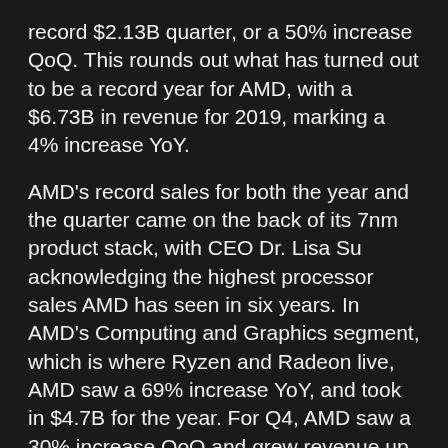record $2.13B quarter, or a 50% increase QoQ. This rounds out what has turned out to be a record year for AMD, with a $6.73B in revenue for 2019, marking a 4% increase YoY.
AMD's record sales for both the year and the quarter came on the back of its 7nm product stack, with CEO Dr. Lisa Su acknowledging the highest processor sales AMD has seen in six years. In AMD's Computing and Graphics segment, which is where Ryzen and Radeon live, AMD saw a 69% increase YoY, and took in $4.7B for the year. For Q4, AMD saw a 30% increase QoQ and grew revenue up to $1.66B.
While AMD noted that it has doubled the number of Epyc platforms to 100 during Q4, AMD hasn't quite reached double digit share in the server market. AMD still maintains that it'll achieve double digit share by mid-2020. However, AMD did see server revenue grow by double digits driven by strong demand for Epyc Rome and higher average selling prices.
AMD's Embedded and Semi-Custom didn't turn in quite as stellar results; AMD saw $465M for the quarter, an 11% decline QoQ. While this was partially offset by Epyc sales, AMD notes a weaker than expected console market as the